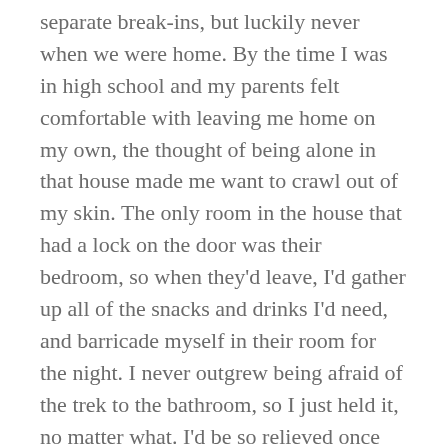separate break-ins, but luckily never when we were home. By the time I was in high school and my parents felt comfortable with leaving me home on my own, the thought of being alone in that house made me want to crawl out of my skin. The only room in the house that had a lock on the door was their bedroom, so when they'd leave, I'd gather up all of the snacks and drinks I'd need, and barricade myself in their room for the night. I never outgrew being afraid of the trek to the bathroom, so I just held it, no matter what. I'd be so relieved once they finally made it home. Most teenagers can't wait for their parents to leave so they can have free reign to be a little naughty; I prayed they'd hurry the hell up and get home so I didn't have to be alone.
The house was eventually condemned and